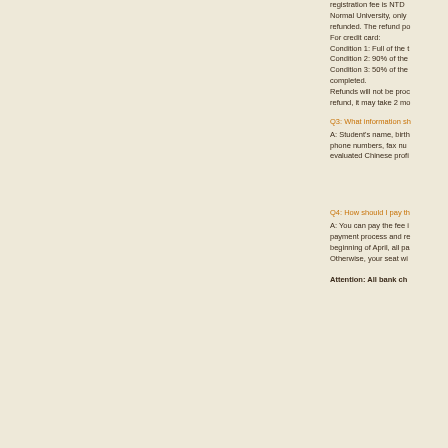registration fee is NTD Normal University, only refunded. The refund po For credit card: Condition 1: Full of the t Condition 2: 90% of the Condition 3: 50% of the completed. Refunds will not be proc refund, it may take 2 mo
Q3: What information sh
A: Student's name, birth phone numbers, fax nu evaluated Chinese profi
Q4: How should I pay th
A: You can pay the fee i payment process and re beginning of April, all pa Otherwise, your seat wi
Attention: All bank ch